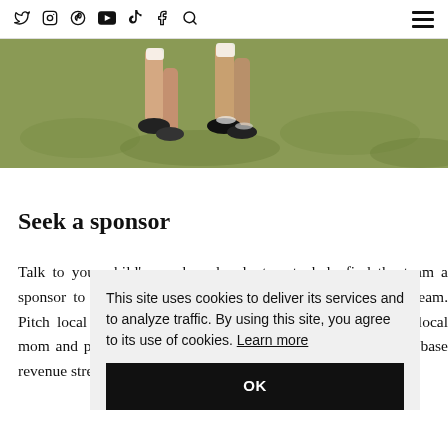Social media icons: Twitter, Instagram, Pinterest, YouTube, TikTok, Facebook, Search, Hamburger menu
[Figure (photo): Cropped photo showing runners' legs mid-stride on a grassy field, taken from a low angle]
Seek a sponsor
Talk to your child's coach and volunteer to help find the team a sponsor to help lower the out-of-pocket cost for the whole team. Pitch local supermarkets, shoe and equipment shops, or the local mom and pops. These sponsor relationships help form a solid base revenue stream.
This site uses cookies to deliver its services and to analyze traffic. By using this site, you agree to its use of cookies. Learn more
OK